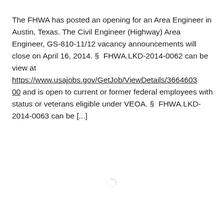The FHWA has posted an opening for an Area Engineer in Austin, Texas. The Civil Engineer (Highway) Area Engineer, GS-810-11/12 vacancy announcements will close on April 16, 2014. §  FHWA.LKD-2014-0062 can be view at https://www.usajobs.gov/GetJob/ViewDetails/366460300 and is open to current or former federal employees with status or veterans eligible under VEOA. §  FHWA.LKD-2014-0063 can be [...]
[Figure (other): Loading spinner icon]